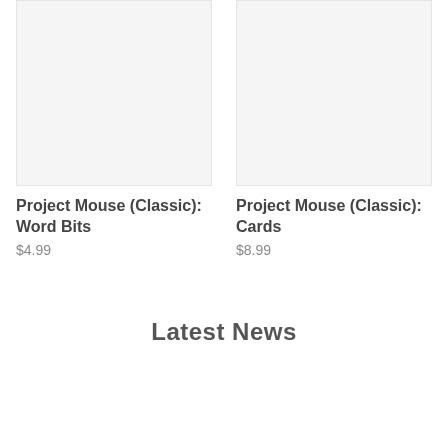[Figure (photo): Product image placeholder for Project Mouse (Classic): Word Bits - light gray rectangle]
Project Mouse (Classic): Word Bits
$4.99
[Figure (photo): Product image placeholder for Project Mouse (Classic): Cards - light gray rectangle]
Project Mouse (Classic): Cards
$8.99
Latest News